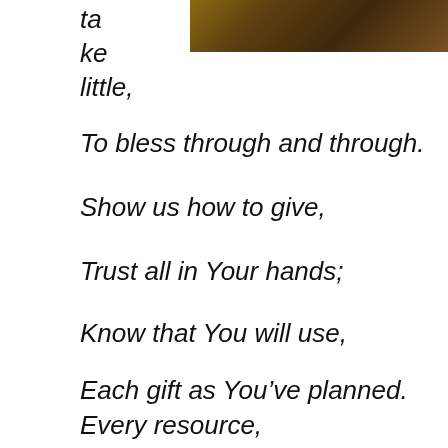[Figure (photo): A close-up photo of what appears to be an animal or natural texture, dark brown and orange tones, placed in the upper right area of the page.]
ta
ke
little,
To bless through and through.
Show us how to give,
Trust all in Your hands;
Know that You will use,
Each gift as You've planned.
Every resource,
Time, talent and gifts;